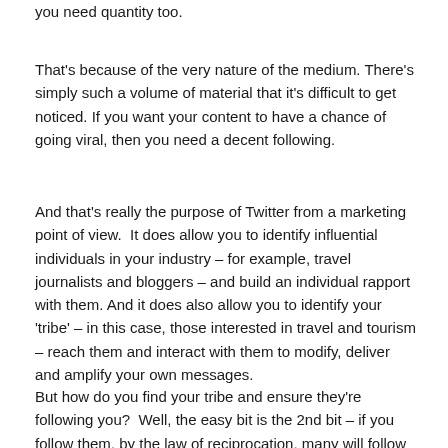you need quantity too.
That's because of the very nature of the medium. There's simply such a volume of material that it's difficult to get noticed. If you want your content to have a chance of going viral, then you need a decent following.
And that's really the purpose of Twitter from a marketing point of view.  It does allow you to identify influential individuals in your industry – for example, travel journalists and bloggers – and build an individual rapport with them. And it does also allow you to identify your 'tribe' – in this case, those interested in travel and tourism – reach them and interact with them to modify, deliver and amplify your own messages.
But how do you find your tribe and ensure they're following you?  Well, the easy bit is the 2nd bit – if you follow them, by the law of reciprocation, many will follow you back. Identifying them is the hard bit.